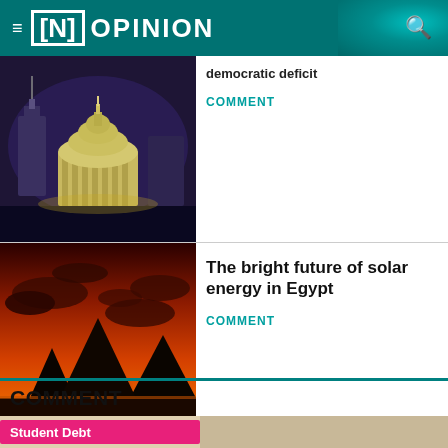[N] OPINION
democratic deficit
COMMENT
[Figure (photo): US Capitol building at night, illuminated against dark sky]
The bright future of solar energy in Egypt
COMMENT
[Figure (photo): Egyptian pyramids silhouetted against vivid red-orange sunset sky]
COMMENT
[Figure (photo): Partial image showing 'Student Debt' sign or banner]